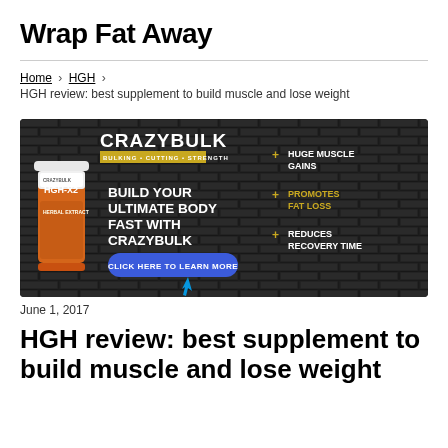Wrap Fat Away
Home > HGH > HGH review: best supplement to build muscle and lose weight
[Figure (photo): CrazyBulk HGH-X2 advertisement banner with dark brick background, showing a supplement bottle, text 'Build Your Ultimate Body Fast With CrazyBulk', a blue 'Click Here To Learn More' button, and callouts: + Huge Muscle Gains, + Promotes Fat Loss, + Reduces Recovery Time]
June 1, 2017
HGH review: best supplement to build muscle and lose weight